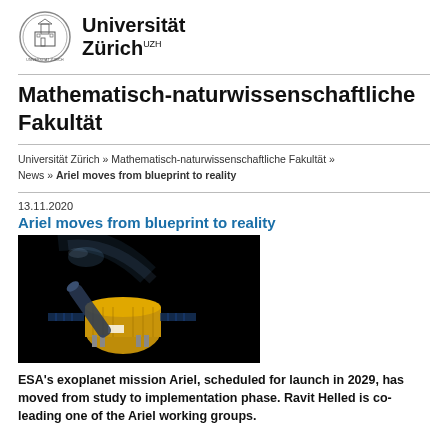[Figure (logo): Universität Zürich circular seal/crest logo with UZH text]
Universität Zürich UZH
Mathematisch-naturwissenschaftliche Fakultät
Universität Zürich » Mathematisch-naturwissenschaftliche Fakultät » News » Ariel moves from blueprint to reality
13.11.2020
Ariel moves from blueprint to reality
[Figure (illustration): Rendering of the Ariel spacecraft / satellite with gold foil body and telescope extension against black background]
ESA's exoplanet mission Ariel, scheduled for launch in 2029, has moved from study to implementation phase. Ravit Helled is co-leading one of the Ariel working groups.